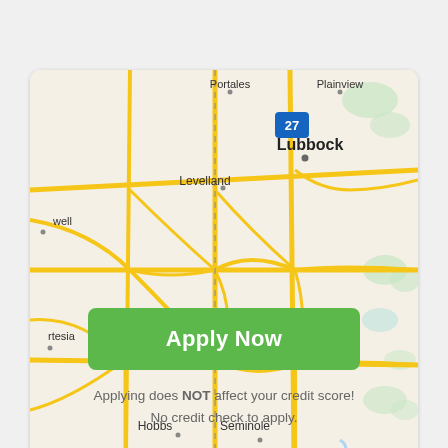[Figure (map): Road map showing West Texas area including cities Lubbock, Levelland, Hobbs, Seminole, Plainview, Portales, Carlsbad, Artesia, and surrounding road network. An up-arrow navigation button is visible in the bottom-right corner of the map.]
[Figure (other): Green 'Apply Now' button]
Applying does NOT affect your credit score!
No credit check to apply.